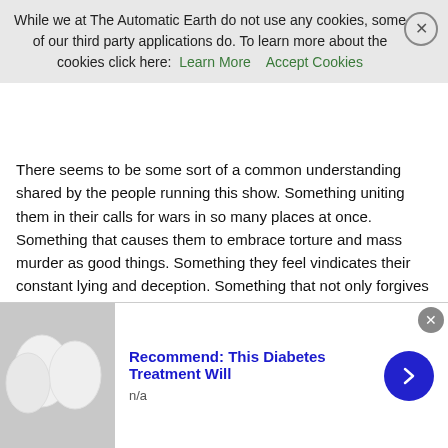While we at The Automatic Earth do not use any cookies, some of our third party applications do. To learn more about the cookies click here: Learn More   Accept Cookies
There seems to be some sort of a common understanding shared by the people running this show. Something uniting them in their calls for wars in so many places at once. Something that causes them to embrace torture and mass murder as good things. Something they feel vindicates their constant lying and deception. Something that not only forgives their incredible levels of theft from honest citizens, but enshrines it.
Is it greed? The people at the top have far more money than their families could ever hope to spend, so I can't imagine why it would be greed. On the other hand, maybe it's just a matter of the Rothschilds always getting their way simply because nobody's price is ever too high.
Is it power? That would presume that the kicks one gets from jerking around millions of people are beyond what could be derived from
[Figure (photo): Advertisement showing white egg-like objects with text: Recommend: This Diabetes Treatment Will, n/a]